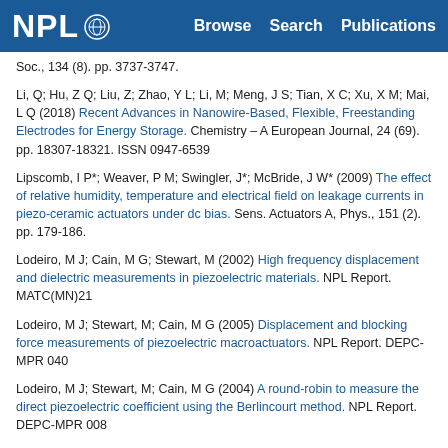NPL | Browse  Search  Publications
Soc., 134 (8). pp. 3737-3747.
Li, Q; Hu, Z Q; Liu, Z; Zhao, Y L; Li, M; Meng, J S; Tian, X C; Xu, X M; Mai, L Q (2018) Recent Advances in Nanowire-Based, Flexible, Freestanding Electrodes for Energy Storage. Chemistry – A European Journal, 24 (69). pp. 18307-18321. ISSN 0947-6539
Lipscomb, I P*; Weaver, P M; Swingler, J*; McBride, J W* (2009) The effect of relative humidity, temperature and electrical field on leakage currents in piezo-ceramic actuators under dc bias. Sens. Actuators A, Phys., 151 (2). pp. 179-186.
Lodeiro, M J; Cain, M G; Stewart, M (2002) High frequency displacement and dielectric measurements in piezoelectric materials. NPL Report. MATC(MN)21
Lodeiro, M J; Stewart, M; Cain, M G (2005) Displacement and blocking force measurements of piezoelectric macroactuators. NPL Report. DEPC-MPR 040
Lodeiro, M J; Stewart, M; Cain, M G (2004) A round-robin to measure the direct piezoelectric coefficient using the Berlincourt method. NPL Report. DEPC-MPR 008